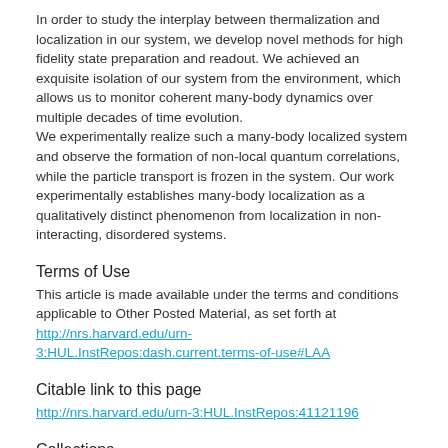In order to study the interplay between thermalization and localization in our system, we develop novel methods for high fidelity state preparation and readout. We achieved an exquisite isolation of our system from the environment, which allows us to monitor coherent many-body dynamics over multiple decades of time evolution.
We experimentally realize such a many-body localized system and observe the formation of non-local quantum correlations, while the particle transport is frozen in the system. Our work experimentally establishes many-body localization as a qualitatively distinct phenomenon from localization in non-interacting, disordered systems.
Terms of Use
This article is made available under the terms and conditions applicable to Other Posted Material, as set forth at http://nrs.harvard.edu/urn-3:HUL.InstRepos:dash.current.terms-of-use#LAA
Citable link to this page
http://nrs.harvard.edu/urn-3:HUL.InstRepos:41121196
Collections